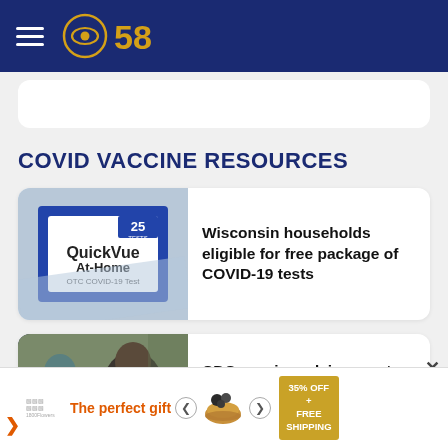CBS 58
COVID VACCINE RESOURCES
[Figure (photo): QuickVue At-Home OTC COVID-19 Test box, 25 tests]
Wisconsin households eligible for free package of COVID-19 tests
[Figure (photo): Healthcare worker administering a vaccine to a patient]
CDC vaccine advisers vote to recommend updated Covid-19
[Figure (other): Advertisement banner: The perfect gift, 35% OFF + FREE SHIPPING]